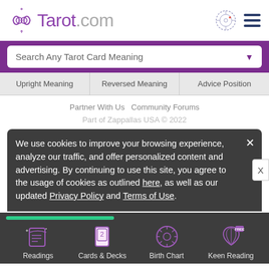Tarot.com
Search Any Tarot Card Meaning
Upright Meaning   Reversed Meaning   Advice Position
Partner With Us  Community Forums
Part of Zappallas USA © 2022
We use cookies to improve your browsing experience, analyze our traffic, and offer personalized content and advertising. By continuing to use this site, you agree to the usage of cookies as outlined here, as well as our updated Privacy Policy and Terms of Use.
Readings  Cards & Decks  Birth Chart  Keen Reading